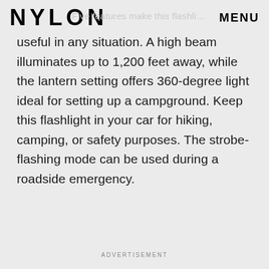NYLON  MENU
useful in any situation. A high beam illuminates up to 1,200 feet away, while the lantern setting offers 360-degree light ideal for setting up a campground. Keep this flashlight in your car for hiking, camping, or safety purposes. The strobe-flashing mode can be used during a roadside emergency.
ADVERTISEMENT